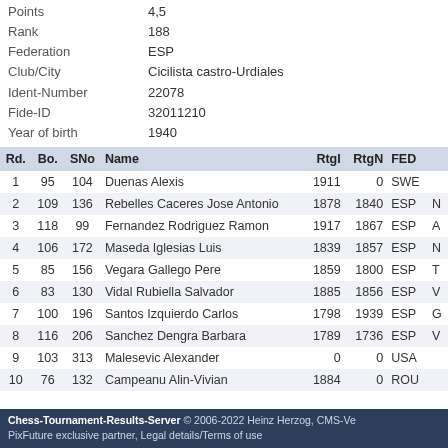| Points | 4,5 |
| Rank | 188 |
| Federation | ESP |
| Club/City | Cicilista castro-Urdiales |
| Ident-Number | 22078 |
| Fide-ID | 32011210 |
| Year of birth | 1940 |
| Rd. | Bo. | SNo | Name | RtgI | RtgN | FED |
| --- | --- | --- | --- | --- | --- | --- |
| 1 | 95 | 104 | Duenas Alexis | 1911 | 0 | SWE |
| 2 | 109 | 136 | Rebelles Caceres Jose Antonio | 1878 | 1840 | ESP |
| 3 | 118 | 99 | Fernandez Rodriguez Ramon | 1917 | 1867 | ESP |
| 4 | 106 | 172 | Maseda Iglesias Luis | 1839 | 1857 | ESP |
| 5 | 85 | 156 | Vegara Gallego Pere | 1859 | 1800 | ESP |
| 6 | 83 | 130 | Vidal Rubiella Salvador | 1885 | 1856 | ESP |
| 7 | 100 | 196 | Santos Izquierdo Carlos | 1798 | 1939 | ESP |
| 8 | 116 | 206 | Sanchez Dengra Barbara | 1789 | 1736 | ESP |
| 9 | 103 | 313 | Malesevic Alexander | 0 | 0 | USA |
| 10 | 76 | 132 | Campeanu Alin-Vivian | 1884 | 0 | ROU |
Chess-Tournament-Results-Server © 2006-2022 Heinz Herzog, CMS-Ve PixFuture exclusive partner, Legal details/Terms of use